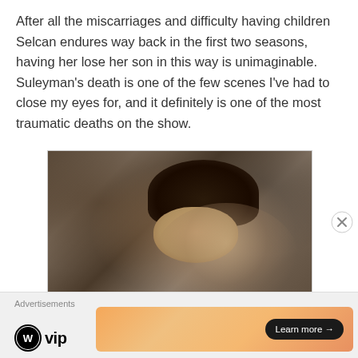After all the miscarriages and difficulty having children Selcan endures way back in the first two seasons, having her lose her son in this way is unimaginable. Suleyman's death is one of the few scenes I've had to close my eyes for, and it definitely is one of the most traumatic deaths on the show.
[Figure (photo): A young man in medieval Ottoman costume wearing a dark fur hat, smiling slightly, with a crowd scene in the background. The image is from a Turkish historical TV series.]
Advertisements
[Figure (logo): WordPress VIP logo — WordPress circle logo followed by 'vip' text in bold]
[Figure (infographic): Gradient orange/peach advertisement banner with 'Learn more →' button in dark pill shape]